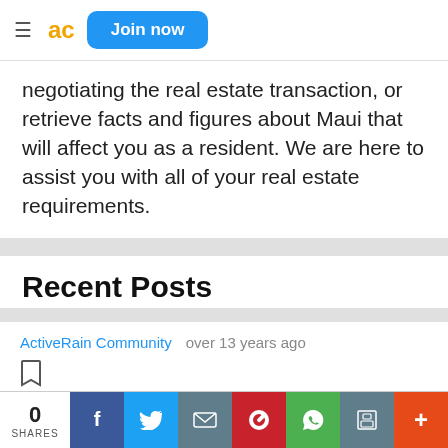ac  Join now
negotiating the real estate transaction, or retrieve facts and figures about Maui that will affect you as a resident. We are here to assist you with all of your real estate requirements.
Recent Posts
ActiveRain Community   over 13 years ago
Haiku Real Estate News
0 SHARES  [social share buttons: Facebook, Twitter, Email, Pinterest, WhatsApp, Print, More]